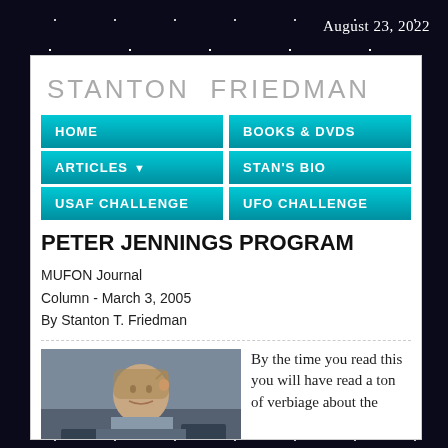August 23, 2022
STANTON FRIEDMAN
HOME
BOOKS & DVDs
ARTICLES
STAN'S BIO
USAF CHALLENGE
UFO CHALLENGE
PETER JENNINGS PROGRAM
MUFON Journal
Column - March 3, 2005
By Stanton T. Friedman
[Figure (photo): Photo of a man (Peter Jennings) with hand raised to head, indoor background with screens]
By the time you read this you will have read a ton of verbiage about the